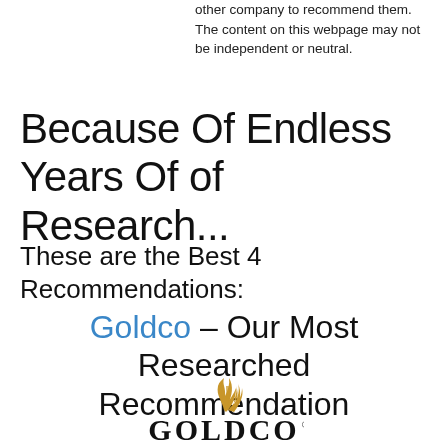other company to recommend them. The content on this webpage may not be independent or neutral.
Because Of Endless Years Of of Research...
These are the Best 4 Recommendations:
Goldco – Our Most Researched Recommendation
[Figure (logo): Goldco logo with golden wheat/flame icon above large GOLDCO text with registered trademark symbol]